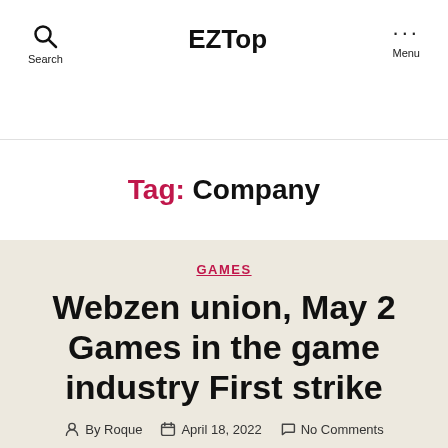EZTop
Tag: Company
GAMES
Webzen union, May 2 Games in the game industry First strike
By Roque  April 18, 2022  No Comments